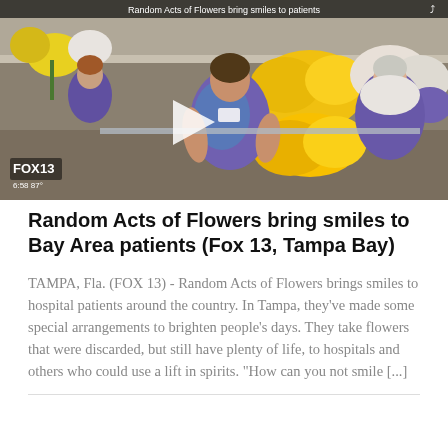[Figure (photo): A Fox 13 news video thumbnail showing women in purple aprons arranging flowers (yellow roses, white daisies, purple flowers) in a flower shop/warehouse. A video play button overlay is visible. The Fox 13 logo and time/temperature (6:58, 87°) are shown in the lower left. A top bar reads 'Random Acts of Flowers bring smiles to patients'.]
Random Acts of Flowers bring smiles to Bay Area patients (Fox 13, Tampa Bay)
TAMPA, Fla. (FOX 13) - Random Acts of Flowers brings smiles to hospital patients around the country. In Tampa, they've made some special arrangements to brighten people's days. They take flowers that were discarded, but still have plenty of life, to hospitals and others who could use a lift in spirits. "How can you not smile [...]